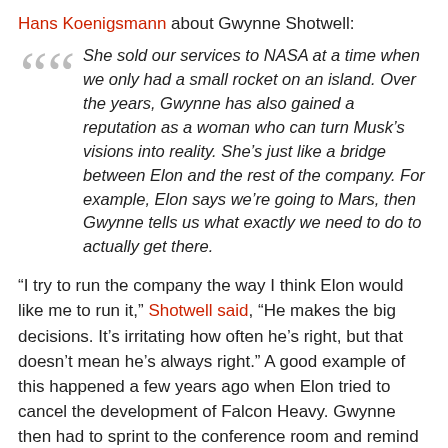Hans Koenigsmann about Gwynne Shotwell:
She sold our services to NASA at a time when we only had a small rocket on an island. Over the years, Gwynne has also gained a reputation as a woman who can turn Musk's visions into reality. She's just like a bridge between Elon and the rest of the company. For example, Elon says we're going to Mars, then Gwynne tells us what exactly we need to do to actually get there.
“I try to run the company the way I think Elon would like me to run it,” Shotwell said, “He makes the big decisions. It’s irritating how often he’s right, but that doesn’t mean he’s always right.” A good example of this happened a few years ago when Elon tried to cancel the development of Falcon Heavy. Gwynne then had to sprint to the conference room and remind him that the U.S. Air Force, a very important customer, had already purchased a ride on this rocket.
Finally, how does Gwynne relax? “I drink a lot of wine,” she